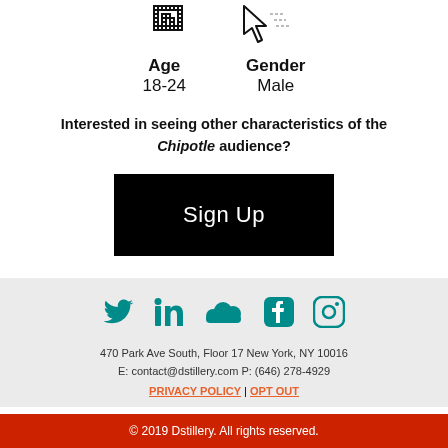[Figure (illustration): Two pixel-art style icons: a bar chart icon and a cursor/arrow icon, side by side]
Age
18-24
Gender
Male
Interested in seeing other characteristics of the Chipotle audience?
Sign Up
[Figure (illustration): Social media icons: Twitter, LinkedIn, SoundCloud, Facebook, Instagram — all in teal color]
470 Park Ave South, Floor 17 New York, NY 10016
E: contact@dstillery.com P: (646) 278-4929
PRIVACY POLICY | OPT OUT
© 2019 Dstillery. All rights reserved.